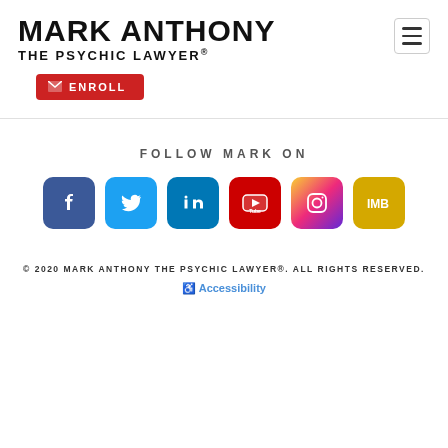MARK ANTHONY THE PSYCHIC LAWYER®
[Figure (screenshot): Red enroll button with envelope icon and text 'ENROLL']
FOLLOW MARK ON
[Figure (infographic): Social media icons: Facebook, Twitter, LinkedIn, YouTube, Instagram, iMDB (gold)]
© 2020 MARK ANTHONY THE PSYCHIC LAWYER®. ALL RIGHTS RESERVED. ♿ Accessibility